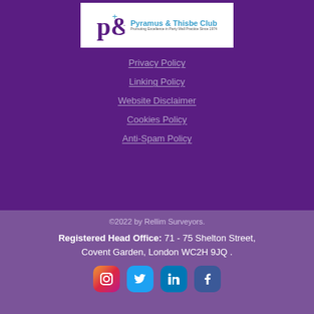[Figure (logo): Pyramus & Thisbe Club logo — stylized P&T icon with text 'Pyramus & Thisbe Club' and subtitle 'Promoting Excellence in Party Wall Practice Since 1974']
Privacy Policy
Linking Policy
Website Disclaimer
Cookies Policy
Anti-Spam Policy
©2022 by Rellim Surveyors.
Registered Head Office: 71 - 75 Shelton Street, Covent Garden, London WC2H 9JQ .
[Figure (other): Social media icons: Instagram, Twitter, LinkedIn, Facebook]